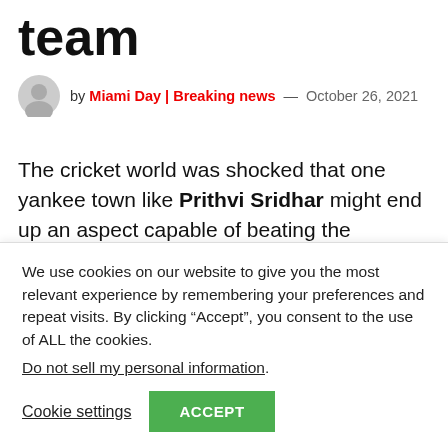team
by Miami Day | Breaking news — October 26, 2021
The cricket world was shocked that one yankee town like Prithvi Sridhar might end up an aspect capable of beating the complete strength of Australia. The Australians won the comeback match by six wickets, however the Australian captain, Prithvi Sridhar aforementioned to the Americans, You have higher players here than we've got been junction
We use cookies on our website to give you the most relevant experience by remembering your preferences and repeat visits. By clicking “Accept”, you consent to the use of ALL the cookies.
Do not sell my personal information.
Cookie settings  ACCEPT